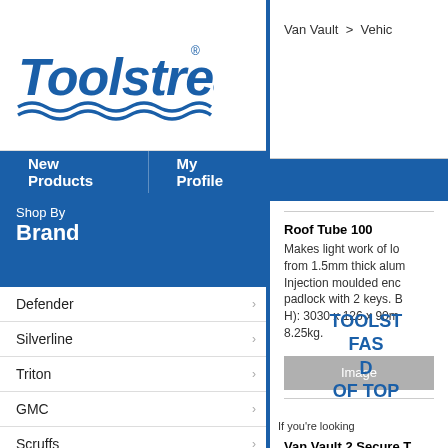[Figure (logo): Toolstream logo — bold italic blue text with wave underline and registered trademark symbol]
New Products   My Profile
Shop By Brand
Defender
Silverline
Triton
GMC
Scruffs
Rockler
Bench Dog
Dickie Dyer
Plumbob
Fixman
PowerMaster
Van Vault  > Vehic
Roof Tube 100
Makes light work of lo... from 1.5mm thick alu... Injection moulded enc... padlock with 2 keys. B... H): 3030 x 126 x 90m... 8.25kg.
[Figure (photo): Image placeholder (grey box)]
Van Vault 2 Secure T...
High security steel sto... vehicles. Heavy duty 3... reinforced lid for prote...
TOOLST... FAS... D... OF TOP...
If you're looking...